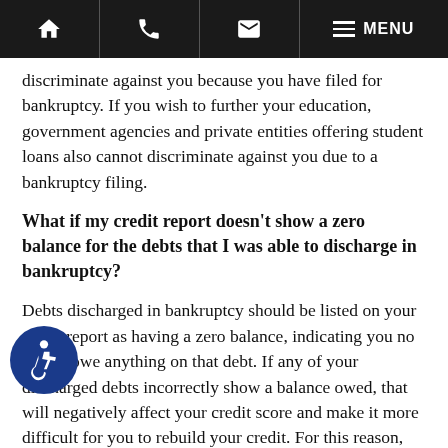Home | Phone | Email | Menu
discriminate against you because you have filed for bankruptcy. If you wish to further your education, government agencies and private entities offering student loans also cannot discriminate against you due to a bankruptcy filing.
What if my credit report doesn't show a zero balance for the debts that I was able to discharge in bankruptcy?
Debts discharged in bankruptcy should be listed on your credit report as having a zero balance, indicating you no longer owe anything on that debt. If any of your discharged debts incorrectly show a balance owed, that will negatively affect your credit score and make it more difficult for you to rebuild your credit. For this reason,
[Figure (illustration): Accessibility icon (wheelchair symbol) in a blue circle]